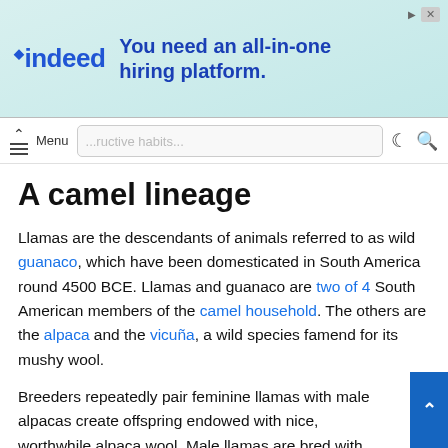[Figure (other): Indeed advertisement banner: 'You need an all-in-one hiring platform.']
Menu  [crescent icon] [search icon]
A camel lineage
Llamas are the descendants of animals referred to as wild guanaco, which have been domesticated in South America round 4500 BCE. Llamas and guanaco are two of 4 South American members of the camel household. The others are the alpaca and the vicuña, a wild species famend for its mushy wool.
Breeders repeatedly pair feminine llamas with male alpacas create offspring endowed with nice, worthwhile alpaca wool. Male llamas are bred with feminine alpacas to extend the